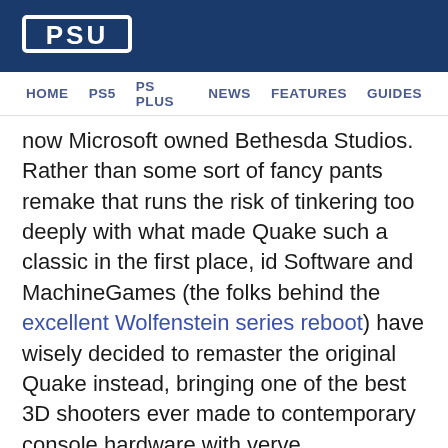PSU
HOME   PS5   PS PLUS   NEWS   FEATURES   GUIDES
now Microsoft owned Bethesda Studios. Rather than some sort of fancy pants remake that runs the risk of tinkering too deeply with what made Quake such a classic in the first place, id Software and MachineGames (the folks behind the excellent Wolfenstein series reboot) have wisely decided to remaster the original Quake instead, bringing one of the best 3D shooters ever made to contemporary console hardware with verve.
Quake PS4 Review